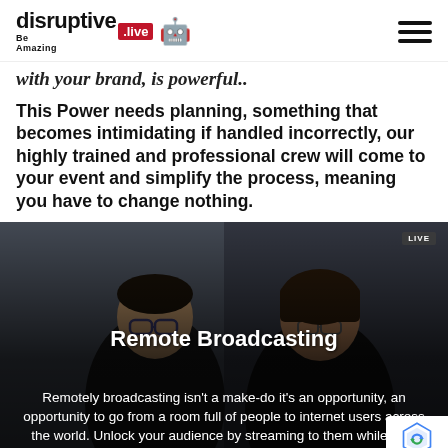disruptive Be Amazing .live
with your brand, is powerful..
This Power needs planning, something that becomes intimidating if handled incorrectly, our highly trained and professional crew will come to your event and simplify the process, meaning you have to change nothing.
[Figure (photo): Two people visible in a video call / remote broadcast screenshot with a 'LIVE' badge in the top right corner]
Remote Broadcasting
Remotely broadcasting isn't a make-do it's an opportunity, an opportunity to go from a room full of people to internet users across the world. Unlock your audience by streaming to them while they are at home, on the go, or even on holiday.